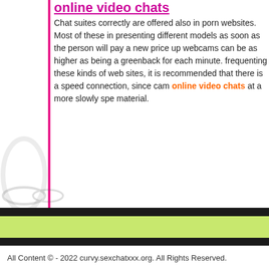online video chats
Chat suites correctly are offered also in porn websites. Most of these in presenting different models as soon as the person will pay a new price up webcams can be as higher as being a greenback for each minute. frequenting these kinds of web sites, it is recommended that there is a speed connection, since cam online video chats at a more slowly spe material.
Uncategorized, Webcams | Comments Off
All Content © - 2022 curvy.sexchatxxx.org. All Rights Reserved.